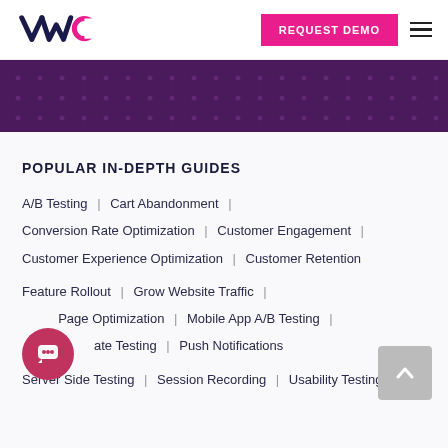VWO | REQUEST DEMO
[Figure (other): Purple dotted banner background]
POPULAR IN-DEPTH GUIDES
A/B Testing | Cart Abandonment |
Conversion Rate Optimization | Customer Engagement |
Customer Experience Optimization | Customer Retention
Feature Rollout | Grow Website Traffic |
Landing Page Optimization | Mobile App A/B Testing |
Multivariate Testing | Push Notifications
Server Side Testing | Session Recording | Usability Testing |